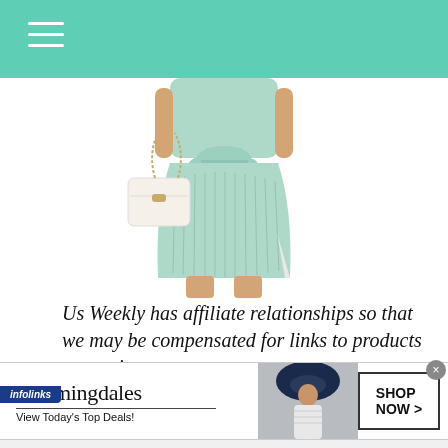Us Weekly - navigation header bar with hamburger menu
[Figure (photo): A woman wearing a light mint/sage green ribbed knit midi dress with a tie waist, carrying a white quilted chain-strap handbag. Only the torso and legs are visible, no face shown.]
Us Weekly has affiliate relationships so that we may be compensated for links to products or services.
[Figure (infographic): Bloomingdales advertisement banner. Shows 'bloomingdales' logo text, 'View Today's Top Deals!' tagline, a woman in a wide-brim navy hat, and a 'SHOP NOW >' button. Infolinks badge visible in upper left corner.]